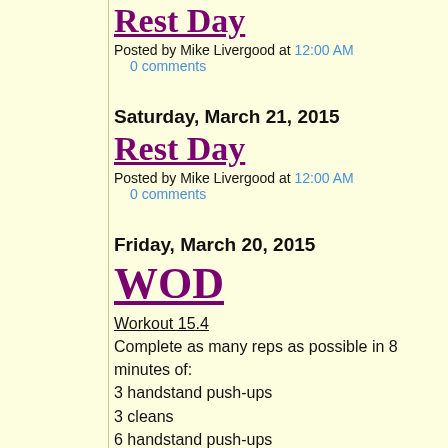Rest Day
Posted by Mike Livergood at 12:00 AM
0 comments
Saturday, March 21, 2015
Rest Day
Posted by Mike Livergood at 12:00 AM
0 comments
Friday, March 20, 2015
WOD
Workout 15.4
Complete as many reps as possible in 8 minutes of:
3 handstand push-ups
3 cleans
6 handstand push-ups
3 cleans
9 handstand push-ups